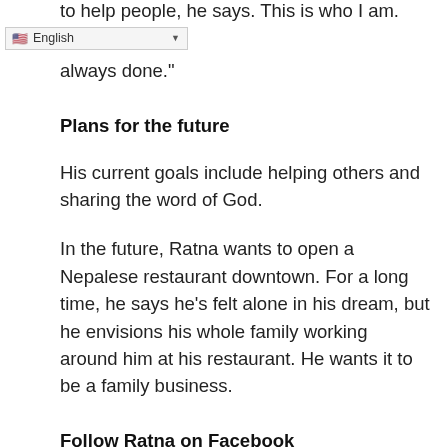to help people, he says. This is who I am.
English
always done."
Plans for the future
His current goals include helping others and sharing the word of God.
In the future, Ratna wants to open a Nepalese restaurant downtown. For a long time, he says he's felt alone in his dream, but he envisions his whole family working around him at his restaurant. He wants it to be a family business.
Follow Ratna on Facebook
If you'd like to try Ratna's food, you can find out where his truck will be on his Facebook page. He is a regular at the Saturday Capitol